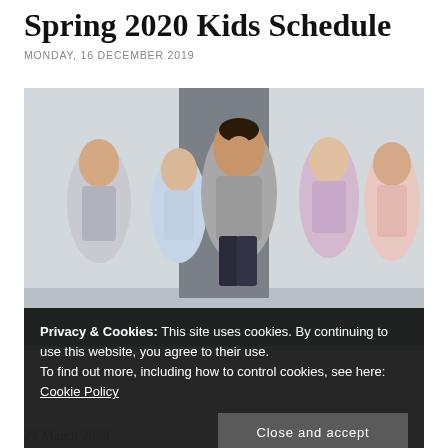Spring 2020 Kids Schedule
MONDAY, 16 DECEMBER 2019
[Figure (photo): Children running and exercising indoors in a gym/dance studio. A boy in a grey t-shirt leads the group, flanked by girls in athletic wear.]
Privacy & Cookies: This site uses cookies. By continuing to use this website, you agree to their use. To find out more, including how to control cookies, see here: Cookie Policy
Close and accept
28 March 2020